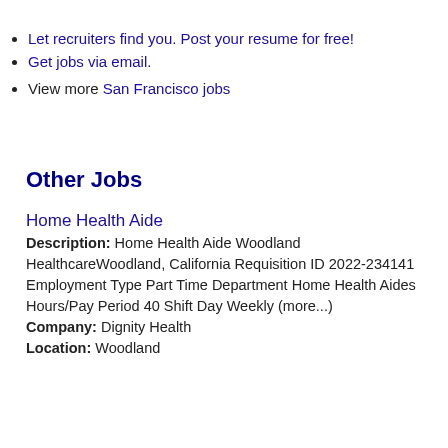Let recruiters find you. Post your resume for free!
Get jobs via email.
View more San Francisco jobs
Other Jobs
Home Health Aide
Description: Home Health Aide Woodland HealthcareWoodland, California Requisition ID 2022-234141 Employment Type Part Time Department Home Health Aides Hours/Pay Period 40 Shift Day Weekly (more...)
Company: Dignity Health
Location: Woodland